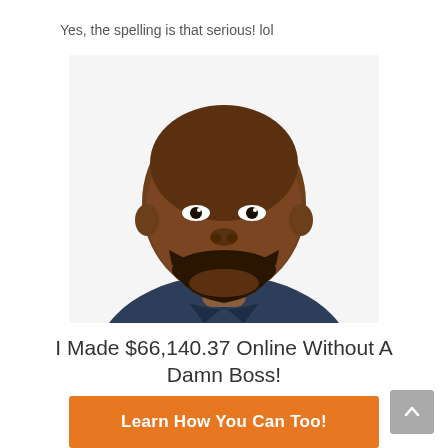Yes, the spelling is that serious! lol
[Figure (photo): Smiling bald Black man with a beard wearing a dark blue shirt, headshot/portrait style on white background]
I Made $66,140.37 Online Without A Damn Boss!
Learn How You Can Too!